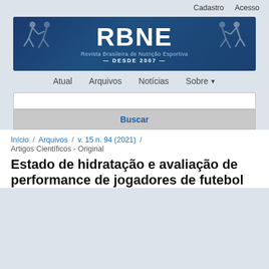Cadastro   Acesso
[Figure (logo): RBNE - Revista Brasileira de Nutrição Esportiva, DESDE 2007, blue banner with runner silhouettes]
Atual   Arquivos   Notícias   Sobre
Buscar
Início / Arquivos / v. 15 n. 94 (2021) / Artigos Científicos - Original
Estado de hidratação e avaliação de performance de jogadores de futebol